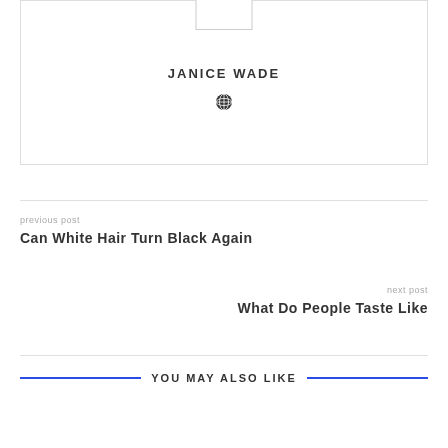[Figure (illustration): Author box with avatar placeholder and globe icon for Janice Wade]
JANICE WADE
previous post
Can White Hair Turn Black Again
next post
What Do People Taste Like
YOU MAY ALSO LIKE